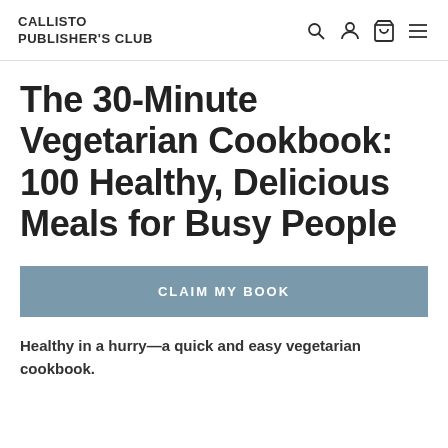CALLISTO PUBLISHER'S CLUB
The 30-Minute Vegetarian Cookbook: 100 Healthy, Delicious Meals for Busy People
CLAIM MY BOOK
Healthy in a hurry—a quick and easy vegetarian cookbook.